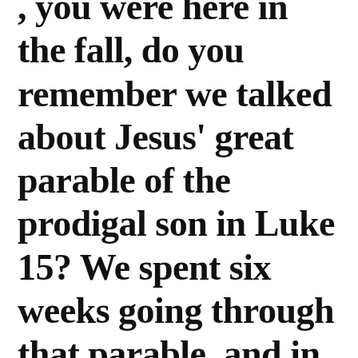, you were here in the fall, do you remember we talked about Jesus' great parable of the prodigal son in Luke 15? We spent six weeks going through that parable, and in the